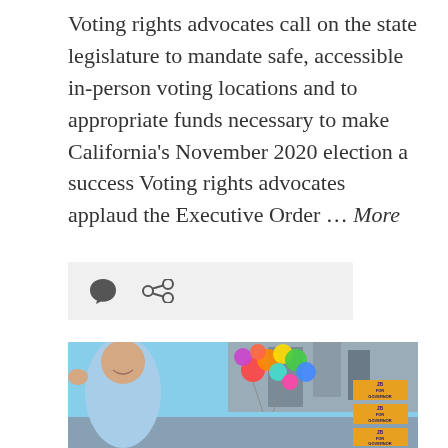Voting rights advocates call on the state legislature to mandate safe, accessible in-person voting locations and to appropriate funds necessary to make California's November 2020 election a success Voting rights advocates applaud the Executive Order … More
[Figure (other): Icon bar with speech bubble comment icon and share/link icon on light gray background]
[Figure (photo): Outdoor parade scene with a man in a blue shirt waving, colorful rainbow balloons in the background, city buildings visible, and JB FOR GOVERNOR campaign signs on the right side]